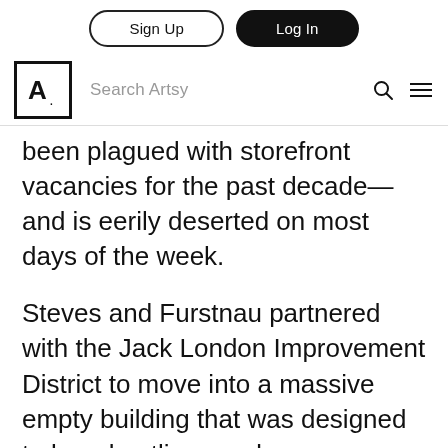Sign Up | Log In | Search Artsy
been plagued with storefront vacancies for the past decade—and is eerily deserted on most days of the week.
Steves and Furstnau partnered with the Jack London Improvement District to move into a massive empty building that was designed to be a bustling vendor marketplace.
To reach the museum from the street, visitors must cross railroad tracks via an elevated walkway with a sci-fi feel. Once in